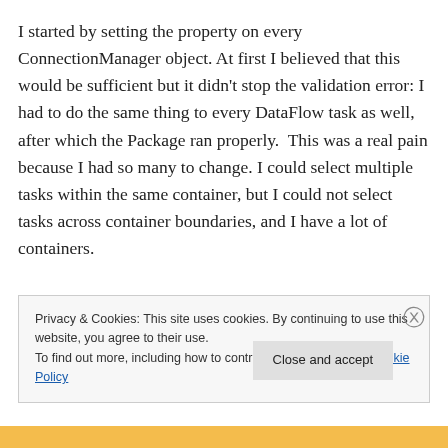I started by setting the property on every ConnectionManager object. At first I believed that this would be sufficient but it didn't stop the validation error: I had to do the same thing to every DataFlow task as well, after which the Package ran properly.  This was a real pain because I had so many to change. I could select multiple tasks within the same container, but I could not select tasks across container boundaries, and I have a lot of containers.

While I understand what DelayValidation is doing and why
Privacy & Cookies: This site uses cookies. By continuing to use this website, you agree to their use.
To find out more, including how to control cookies, see here: Cookie Policy
Close and accept